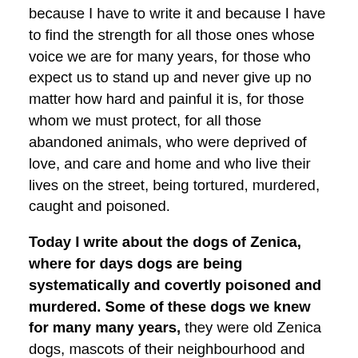because I have to write it and because I have to find the strength for all those ones whose voice we are for many years, for those who expect us to stand up and never give up no matter how hard and painful it is, for those whom we must protect, for all those abandoned animals, who were deprived of love, and care and home and who live their lives on the street, being tortured, murdered, caught and poisoned.
Today I write about the dogs of Zenica, where for days dogs are being systematically and covertly poisoned and murdered. Some of these dogs we knew for many many years, they were old Zenica dogs, mascots of their neighbourhood and friends of many children. For some dogs are still fighting for their lives. I am writing this while my chest and heart feels like exploding, it hurts so much and the fear and sadness I feel can hardly put in words.